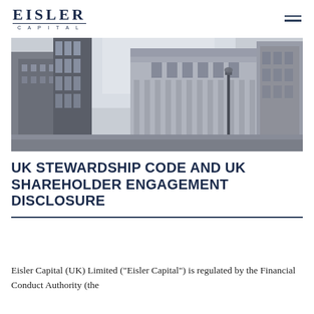EISLER CAPITAL
[Figure (photo): Black and white photograph of London city buildings and streets, viewed from below looking up, showing classical architecture and a street lamp.]
UK STEWARDSHIP CODE AND UK SHAREHOLDER ENGAGEMENT DISCLOSURE
Eisler Capital (UK) Limited (“Eisler Capital”) is regulated by the Financial Conduct Authority (the